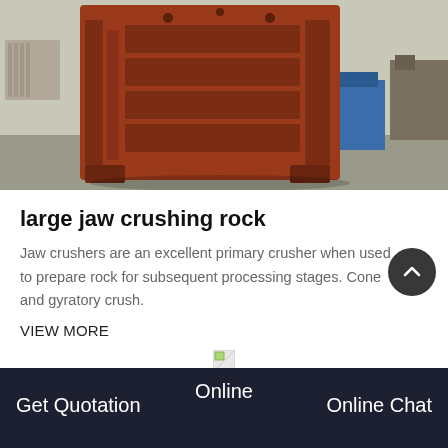[Figure (photo): Large orange/rust-colored jaw crusher machine photographed in an industrial factory setting with concrete floor and industrial equipment in background.]
large jaw crushing rock
Jaw crushers are an excellent primary crusher when used to prepare rock for subsequent processing stages. Cone and gyratory crush.
VIEW MORE
Get Quotation | Online | Online Chat